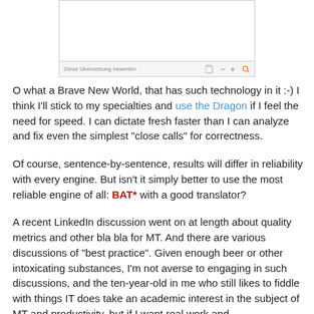[Figure (screenshot): Screenshot of a translation interface showing a text input area with a toolbar at the bottom containing 'Diese Übersetzung bewerten' text and icons including an orange dot and magnifier icon.]
O what a Brave New World, that has such technology in it :-) I think I'll stick to my specialties and use the Dragon if I feel the need for speed. I can dictate fresh faster than I can analyze and fix even the simplest "close calls" for correctness.
Of course, sentence-by-sentence, results will differ in reliability with every engine. But isn't it simply better to use the most reliable engine of all: BAT* with a good translator?
A recent LinkedIn discussion went on at length about quality metrics and other bla bla for MT. And there are various discussions of "best practice". Given enough beer or other intoxicating substances, I'm not averse to engaging in such discussions, and the ten-year-old in me who still likes to fiddle with things IT does take an academic interest in the subject of MT and productivity, but if I want real work and